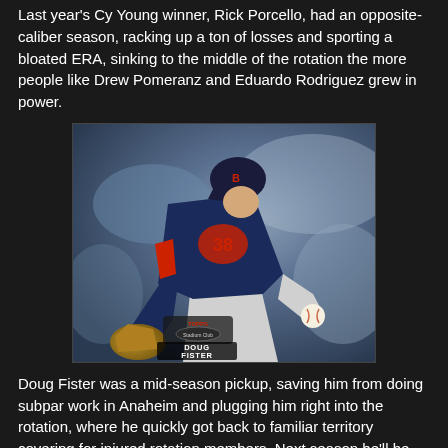Last year's Cy Young winner, Rick Porcello, had an opposite-caliber season, racking up a ton of losses and sporting a bloated ERA, sinking to the middle of the rotation the more people like Drew Pomeranz and Eduardo Rodriguez grew in power.
[Figure (photo): Baseball trading card showing Doug Fister, a pitcher in a Boston Red Sox uniform (navy blue top, gray pants), mid-pitch stance, holding a baseball. The card has a Topps Stadium Club design with Doug Fister's name printed at the bottom.]
Doug Fister was a mid-season pickup, saving him from doing subpar work in Anaheim and plugging him right into the rotation, where he quickly got back to familiar territory covering for injured rotation members. Next season he'll be trying to fix the Rangers' rotation.